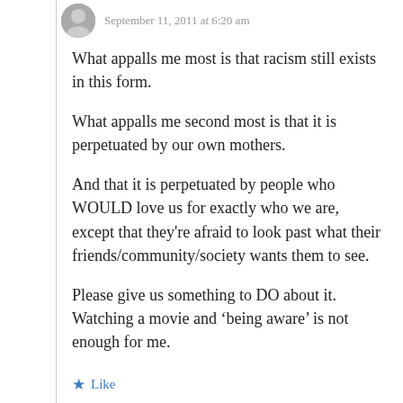September 11, 2011 at 6:20 am
What appalls me most is that racism still exists in this form.
What appalls me second most is that it is perpetuated by our own mothers.
And that it is perpetuated by people who WOULD love us for exactly who we are, except that they're afraid to look past what their friends/community/society wants them to see.
Please give us something to DO about it. Watching a movie and ‘being aware’ is not enough for me.
Like